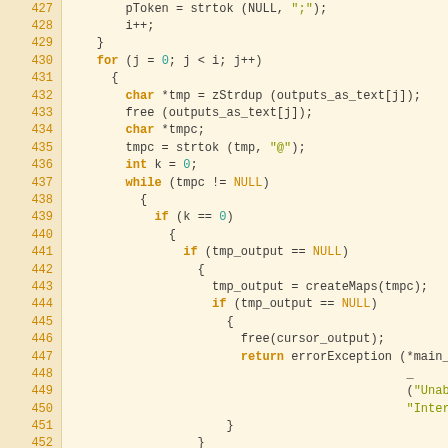[Figure (screenshot): Source code listing (C language) with line numbers 427-453, showing a for loop, char/int declarations, strtok calls, while loop, nested if conditions, createMaps, free, and return statements. Orange line numbers on tan background, monospace code on cream background.]